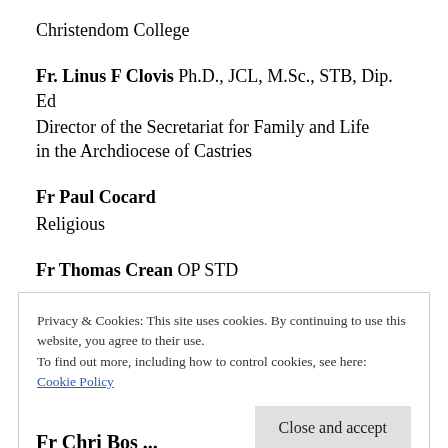Christendom College
Fr. Linus F Clovis Ph.D., JCL, M.Sc., STB, Dip. Ed
Director of the Secretariat for Family and Life in the Archdiocese of Castries
Fr Paul Cocard
Religious
Fr Thomas Crean OP STD
Privacy & Cookies: This site uses cookies. By continuing to use this website, you agree to their use.
To find out more, including how to control cookies, see here:
Cookie Policy
Close and accept